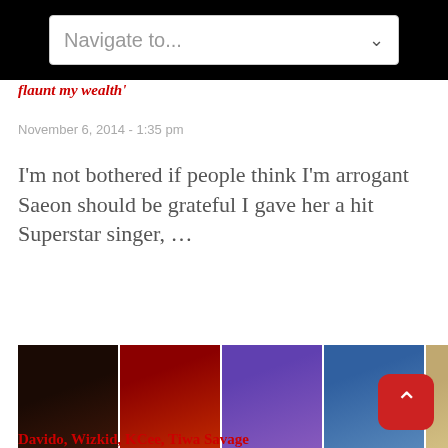Navigate to...
flaunt my wealth'
November 6, 2014 - 1:35 pm
I'm not bothered if people think I'm arrogant Saeon should be grateful I gave her a hit Superstar singer, …
[Figure (photo): Collage of five music artists including Davido, Wizkid, K-Cee, Tiwa Savage and others]
Davido, Wizkid, KCee, Tiwa Savage